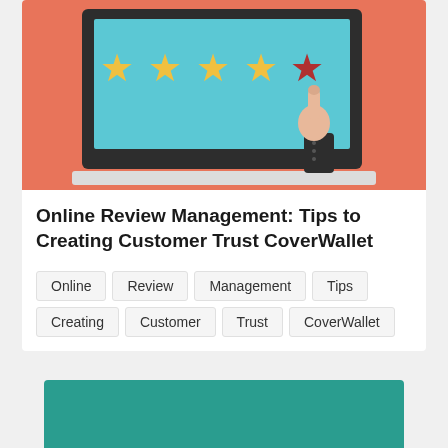[Figure (illustration): Illustration of a laptop screen showing star ratings (four yellow stars and one red/dark star being tapped by a hand pointing finger), on a coral/salmon orange background]
Online Review Management: Tips to Creating Customer Trust CoverWallet
Online
Review
Management
Tips
Creating
Customer
Trust
CoverWallet
[Figure (illustration): Teal/dark cyan colored rectangle card (partially visible at bottom of page)]